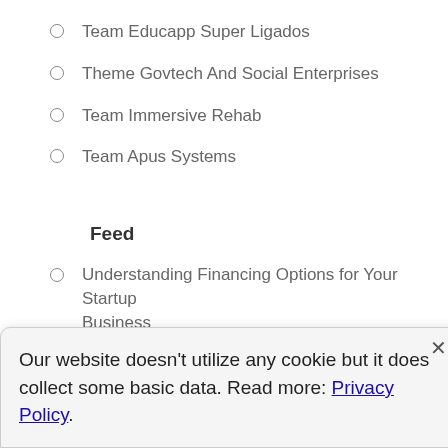Team Educapp Super Ligados
Theme Govtech And Social Enterprises
Team Immersive Rehab
Team Apus Systems
Feed
Understanding Financing Options for Your Startup Business
Starting a business from scratch is not cheap. In fact,
Our website doesn't utilize any cookie but it does collect some basic data. Read more: Privacy Policy.